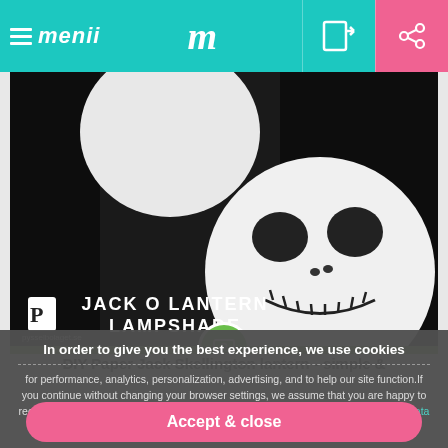menii | m | [login icon] | [share icon]
[Figure (photo): A person holding a large round white paper lantern decorated to look like Jack Skellington from The Nightmare Before Christmas, with black oval eyes, small nose and a stitched smile. Text overlay reads 'JACK O LANTERN LAMPSHADE'. Logo 'P pysselbolaget.se' visible in lower left.]
DIY Paper Jack Skellington lantern - simple &
In order to give you the best experience, we use cookies
for performance, analytics, personalization, advertising, and to help our site function.If you continue without changing your browser settings, we assume that you are happy to receive all cookies on this website. For more help and informations please read our Data Protection & Cookie policy
Accept & close